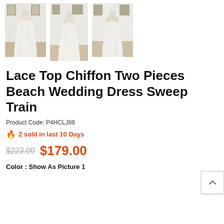[Figure (photo): Three thumbnail photos of a white lace top chiffon beach wedding dress on a mannequin, shown from different angles in a studio setting with Chinese calligraphy on the wall. First image has a black underline indicator.]
Lace Top Chiffon Two Pieces Beach Wedding Dress Sweep Train
Product Code: P4HCLJ86
🔥 2 sold in last 10 Days
$223.00  $179.00
Color : Show As Picture 1